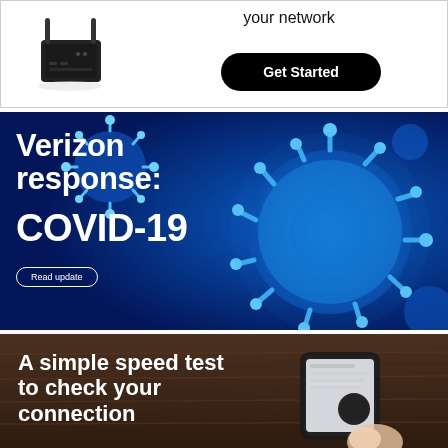[Figure (screenshot): Top banner with router device image on left and 'your network' text with a black 'Get Started' button on the right]
[Figure (screenshot): Verizon COVID-19 response banner with white bold text 'Verizon response: COVID-19' and a 'Read update' button over a blue background with coronavirus imagery]
[Figure (screenshot): Speed test banner showing 'A simple speed test to check your connection' in white bold text over a dark wooden background with a smartphone]